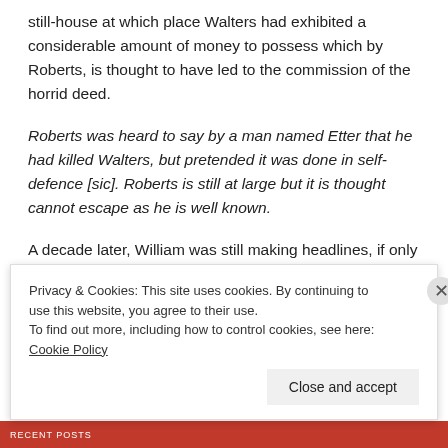still-house at which place Walters had exhibited a considerable amount of money to possess which by Roberts, is thought to have led to the commission of the horrid deed.
Roberts was heard to say by a man named Etter that he had killed Walters, but pretended it was done in self-defence [sic]. Roberts is still at large but it is thought cannot escape as he is well known.
A decade later, William was still making headlines, if only as part of an apparent feud
Privacy & Cookies: This site uses cookies. By continuing to use this website, you agree to their use.
To find out more, including how to control cookies, see here: Cookie Policy
Close and accept